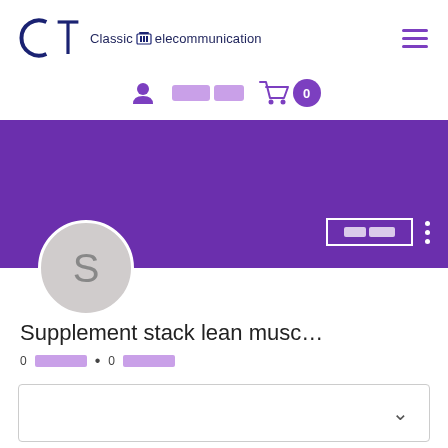Classic Telecommunication
[user icon] [user name] [cart] 0
[Figure (screenshot): Purple profile banner with avatar circle showing letter S, edit button with redacted text, three-dot menu]
Supplement stack lean musc…
0 [redacted] • 0 [redacted]
[dropdown box with chevron]
[redacted text block]